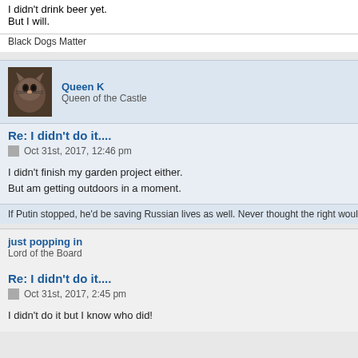I didn't drink beer yet.
But I will.
Black Dogs Matter
Queen K
Queen of the Castle
Re: I didn't do it....
Oct 31st, 2017, 12:46 pm
I didn't finish my garden project either.
But am getting outdoors in a moment.
If Putin stopped, he'd be saving Russian lives as well. Never thought the right would have a
just popping in
Lord of the Board
Re: I didn't do it....
Oct 31st, 2017, 2:45 pm
I didn't do it but I know who did!